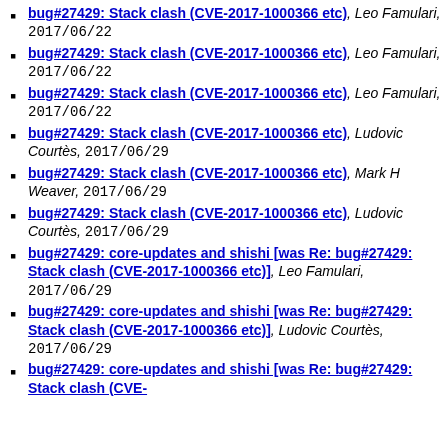bug#27429: Stack clash (CVE-2017-1000366 etc), Leo Famulari, 2017/06/22
bug#27429: Stack clash (CVE-2017-1000366 etc), Leo Famulari, 2017/06/22
bug#27429: Stack clash (CVE-2017-1000366 etc), Leo Famulari, 2017/06/22
bug#27429: Stack clash (CVE-2017-1000366 etc), Ludovic Courtès, 2017/06/29
bug#27429: Stack clash (CVE-2017-1000366 etc), Mark H Weaver, 2017/06/29
bug#27429: Stack clash (CVE-2017-1000366 etc), Ludovic Courtès, 2017/06/29
bug#27429: core-updates and shishi [was Re: bug#27429: Stack clash (CVE-2017-1000366 etc)], Leo Famulari, 2017/06/29
bug#27429: core-updates and shishi [was Re: bug#27429: Stack clash (CVE-2017-1000366 etc)], Ludovic Courtès, 2017/06/29
bug#27429: core-updates and shishi [was Re: bug#27429: Stack clash (CVE-